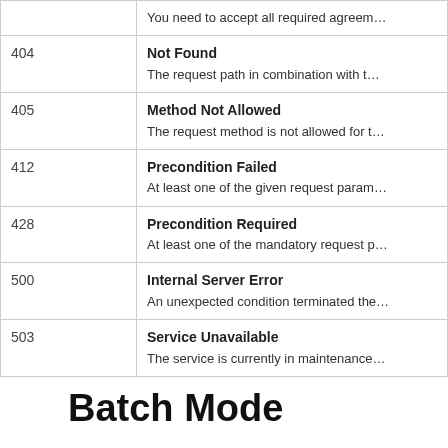| Code | Description |
| --- | --- |
|  | You need to accept all required agreem… |
| 404 | Not Found
The request path in combination with th… |
| 405 | Method Not Allowed
The request method is not allowed for t… |
| 412 | Precondition Failed
At least one of the given request param… |
| 428 | Precondition Required
At least one of the mandatory request p… |
| 500 | Internal Server Error
An unexpected condition terminated the… |
| 503 | Service Unavailable
The service is currently in maintenance… |
Batch Mode